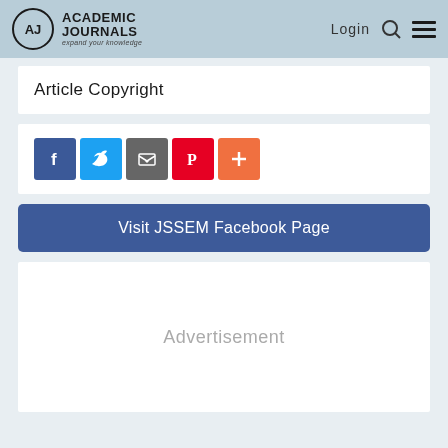Academic Journals — expand your knowledge | Login
Article Copyright
[Figure (infographic): Row of 5 social share icons: Facebook (blue), Twitter (light blue), Email/share (grey), Pinterest (red), Plus/more (orange-red)]
Visit JSSEM Facebook Page
Advertisement